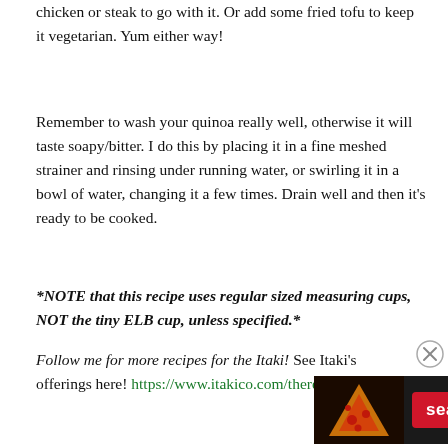chicken or steak to go with it. Or add some fried tofu to keep it vegetarian. Yum either way!
Remember to wash your quinoa really well, otherwise it will taste soapy/bitter. I do this by placing it in a fine meshed strainer and rinsing under running water, or swirling it in a bowl of water, changing it a few times. Drain well and then it's ready to be cooked.
*NOTE that this recipe uses regular sized measuring cups, NOT the tiny ELB cup, unless specified.*
Follow me for more recipes for the Itaki! See Itaki's offerings here! https://www.itakico.com/theresa
[Figure (other): Seamless food ordering advertisement banner with pizza image, red Seamless logo button, and ORDER NOW button]